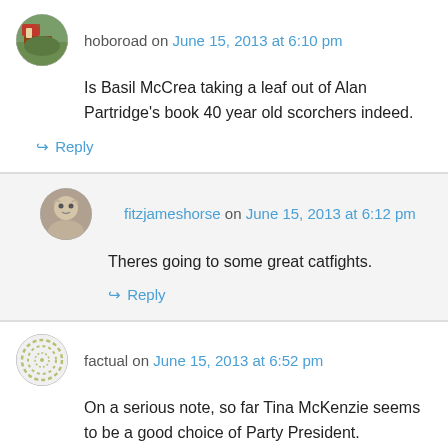hoboroad on June 15, 2013 at 6:10 pm
Is Basil McCrea taking a leaf out of Alan Partridge's book 40 year old scorchers indeed.
↳ Reply
fitzjameshorse on June 15, 2013 at 6:12 pm
Theres going to some great catfights.
↳ Reply
factual on June 15, 2013 at 6:52 pm
On a serious note, so far Tina McKenzie seems to be a good choice of Party President.